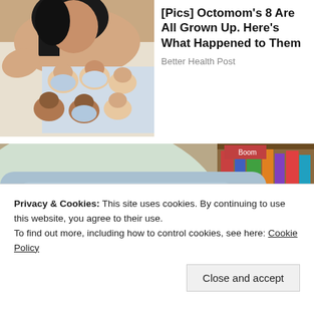[Figure (photo): Woman with dark hair lying down, holding multiple newborn babies dressed in light blue clothing]
[Pics] Octomom's 8 Are All Grown Up. Here's What Happened to Them
Better Health Post
[Figure (photo): Woman with dark hair partially obscured behind a light blue pillow or cushion, with bookshelves visible in background]
Privacy & Cookies: This site uses cookies. By continuing to use this website, you agree to their use.
To find out more, including how to control cookies, see here: Cookie Policy
Close and accept